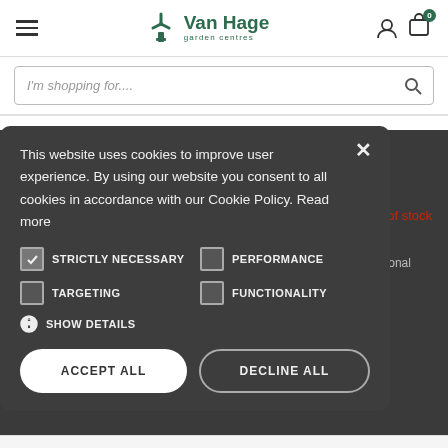Van Hage garden centres
I'm shopping for....
Traeger Ironwood 650 Pellet BBQ Grill (2021 Model)
£1199.99  £999.00   Out of stock
Traeger grills offer the cooking versatility of a traditional oven, with the delicious wood-fired flavour of an outdoor barbecue, loaded with additional features to help you take your cooks to...
Item No 798861
This website uses cookies to improve user experience. By using our website you consent to all cookies in accordance with our Cookie Policy. Read more
STRICTLY NECESSARY
PERFORMANCE
TARGETING
FUNCTIONALITY
SHOW DETAILS
ACCEPT ALL
DECLINE ALL